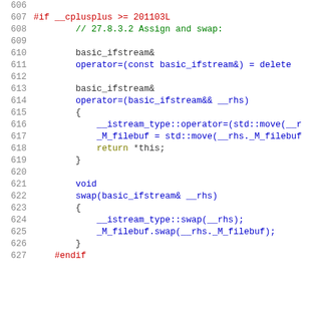[Figure (screenshot): Source code listing showing C++ code for basic_ifstream class, lines 606-626, with syntax highlighting. Includes #if __cplusplus directive, operator= and swap function definitions.]